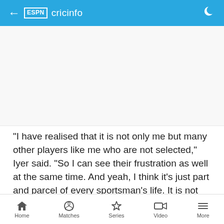ESPN cricinfo
[Figure (other): Advertisement or image placeholder (blank/white space above article text)]
"I have realised that it is not only me but many other players like me who are not selected," Iyer said. "So I can see their frustration as well at the same time. And yeah, I think it's just part and parcel of every sportsman's life. It is not just cricket. Football too. You
Home  Matches  Series  Video  More